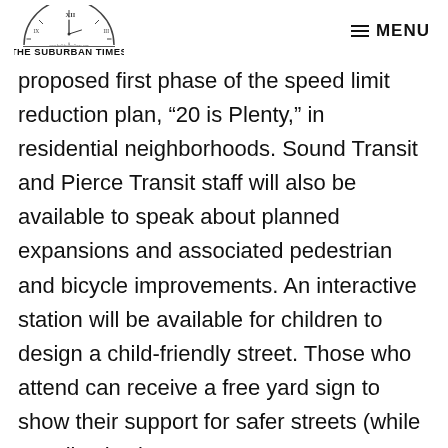THE SUBURBAN TIMES | MENU
proposed first phase of the speed limit reduction plan, “20 is Plenty,” in residential neighborhoods. Sound Transit and Pierce Transit staff will also be available to speak about planned expansions and associated pedestrian and bicycle improvements. An interactive station will be available for children to design a child-friendly street. Those who attend can receive a free yard sign to show their support for safer streets (while supplies last).

To find out more about Vision Zero, visit